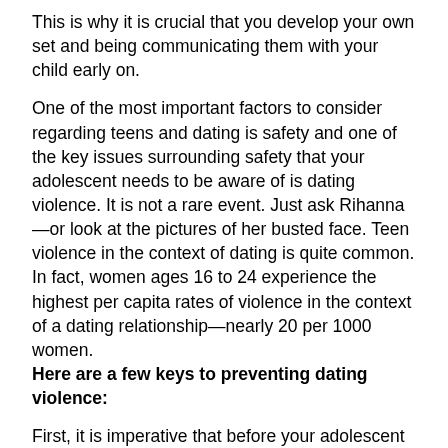This is why it is crucial that you develop your own set and being communicating them with your child early on.
One of the most important factors to consider regarding teens and dating is safety and one of the key issues surrounding safety that your adolescent needs to be aware of is dating violence. It is not a rare event. Just ask Rihanna—or look at the pictures of her busted face. Teen violence in the context of dating is quite common. In fact, women ages 16 to 24 experience the highest per capita rates of violence in the context of a dating relationship—nearly 20 per 1000 women.
Here are a few keys to preventing dating violence:
First, it is imperative that before your adolescent begins dating, both parents (whether you are divorced or not) speak candidly about dating violence.
Second, many parents today do not insist that they get to know a child's boyfriend/girlfriend before they go out together on group or one-on-one dates. This is nothing less than foolish. In my home, no dating will occur until I meet my child's crush at least a few times. In my opinion